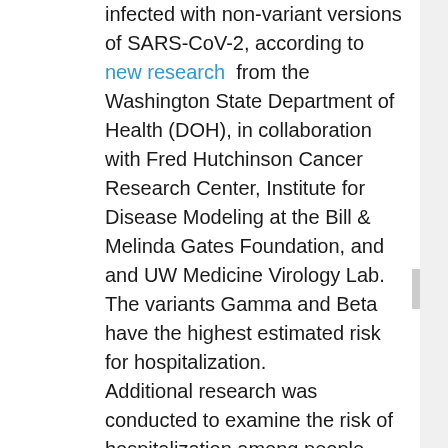infected with non-variant versions of SARS-CoV-2, according to new research from the Washington State Department of Health (DOH), in collaboration with Fred Hutchinson Cancer Research Center, Institute for Disease Modeling at the Bill & Melinda Gates Foundation, and and UW Medicine Virology Lab. The variants Gamma and Beta have the highest estimated risk for hospitalization. Additional research was conducted to examine the risk of hospitalization among people infected with these variants who were vaccinated and those who were unvaccinated. Overall, they found that people infected with Alpha, Beta, Gamma or Delta variants who were vaccinated had a lower risk of hospitalization. When researchers looked at the variants separately, the same pattern of a lower risk of hospitalization for vaccinated people was seen in people infected